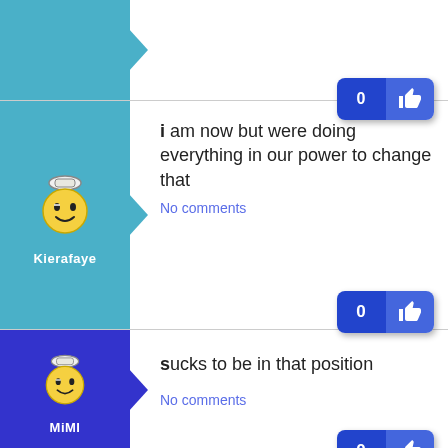[Figure (screenshot): Partial post row showing top of a social media feed with a teal avatar column and a like button showing 0]
[Figure (screenshot): Post by Kierafaye with teal background avatar, text: i am now but were doing everything in our power to change that, No comments, like button showing 0]
i am now but were doing everything in our power to change that
No comments
[Figure (screenshot): Post by MiMI with purple background avatar, text: sucks to be in that position, No comments, like button showing 0]